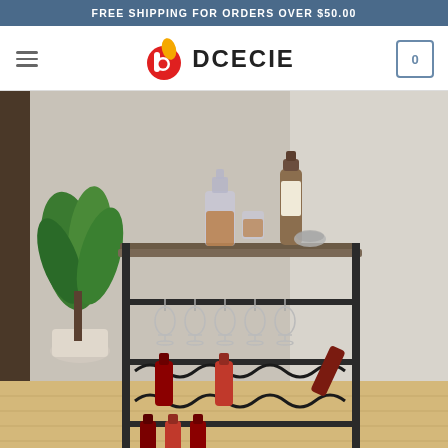FREE SHIPPING FOR ORDERS OVER $50.00
[Figure (logo): DCECIE brand logo with red circular icon and bold text]
[Figure (photo): Bar cart with wood top surface, metal frame, hanging wine glasses, wine bottle rack with bottles, and liquor bottles on top surface. Plants visible in background.]